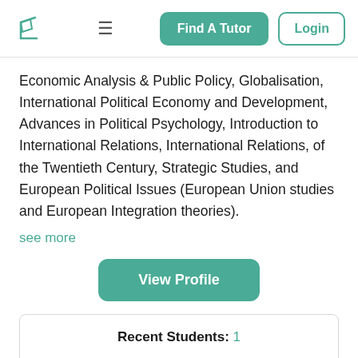Find A Tutor | Login
Economic Analysis & Public Policy, Globalisation, International Political Economy and Development, Advances in Political Psychology, Introduction to International Relations, International Relations, of the Twentieth Century, Strategic Studies, and European Political Issues (European Union studies and European Integration theories).
see more
View Profile
| Recent Students: 1 |
| Hours Taught: 44 |
| Classes Taught: 36 |